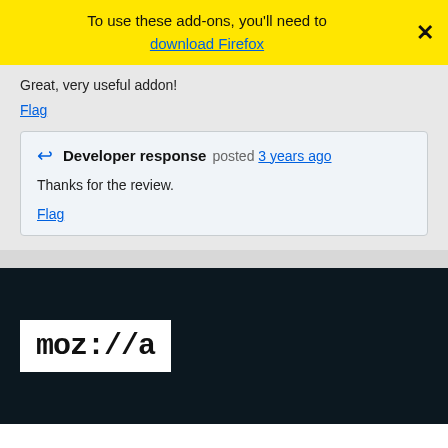To use these add-ons, you'll need to download Firefox
Great, very useful addon!
Flag
Developer response posted 3 years ago
Thanks for the review.
Flag
[Figure (logo): Mozilla logo — white background with 'moz://a' text in bold monospace]